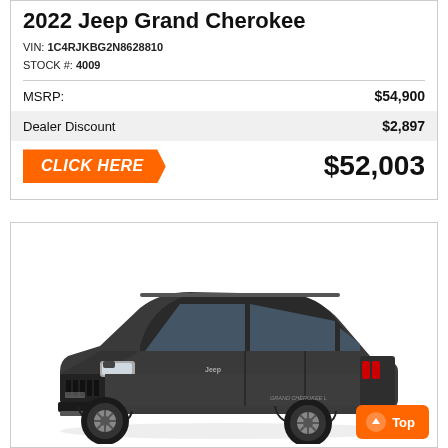2022 Jeep Grand Cherokee
VIN: 1C4RJKBG2N8628810
STOCK #: 4009
|  |  |
| --- | --- |
| MSRP: | $54,900 |
| Dealer Discount | $2,897 |
CLICK HERE   $52,003
[Figure (photo): 2022 Jeep Grand Cherokee SUV in dark gray/graphite color, three-quarter front view, studio white background]